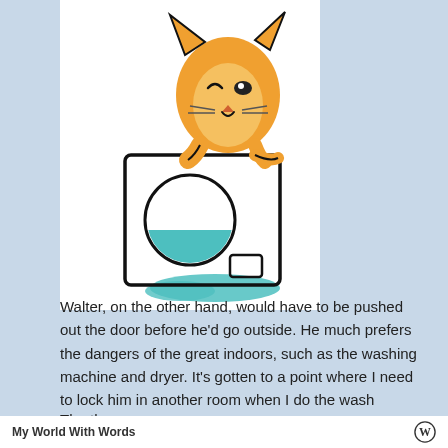[Figure (illustration): Cartoon illustration of a cat peeking into or on top of a front-loading washing machine with teal water visible in the drum and spilled on the floor. The cat has an orange head with a mischievous expression.]
Walter, on the other hand, would have to be pushed out the door before he'd go outside. He much prefers the dangers of the great indoors, such as the washing machine and dryer. It's gotten to a point where I need to lock him in another room when I do the wash because he will leap into the washer and resist all efforts on my part to get him out.
The th...
My World With Words